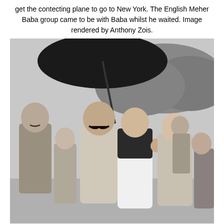get the contecting plane to go to New York. The English Meher Baba group came to be with Baba whilst he waited. Image rendered by Anthony Zois.
[Figure (photo): Black and white photograph of a group of people walking outdoors. A man on the left holds an umbrella over the group. In the center is a man with a large mustache wearing a light-colored Indian-style jacket. A woman in a white dress with a dark top gestures with her fist raised. A smiling man in a suit stands to the right. Trees and a hillside are visible in the background.]